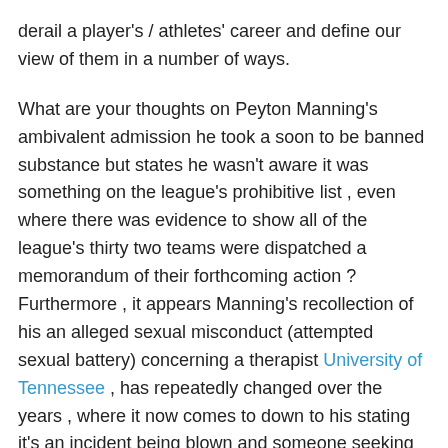derail a player's / athletes' career and define our view of them in a number of ways.
What are your thoughts on Peyton Manning's ambivalent admission he took a soon to be banned substance but states he wasn't aware it was something on the league's prohibitive list , even where there was evidence to show all of the league's thirty two teams were dispatched a memorandum of their forthcoming action ? Furthermore , it appears Manning's recollection of his an alleged sexual misconduct (attempted sexual battery) concerning a therapist University of Tennessee , has repeatedly changed over the years , where it now comes to down to his stating it's an incident being blown and someone seeking to defame his character.
Manning's image , much like so many high profile